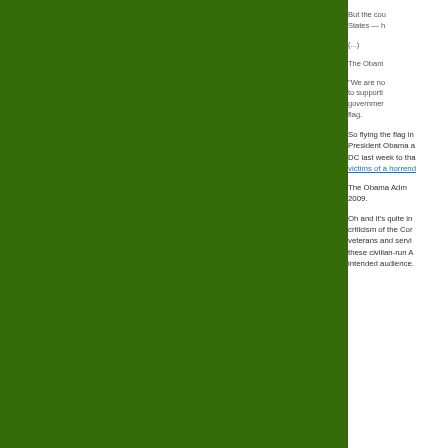But the cou States — h
(...)
The Obam
"We are no to supporti governmer flag.
So flying the flag in President Obama a DC last week to tha victims of a horrend
The Obama Adm 2009.
Oh and it's quite in criticism of the Cor veterans and servi these civilian-run A intended audience.